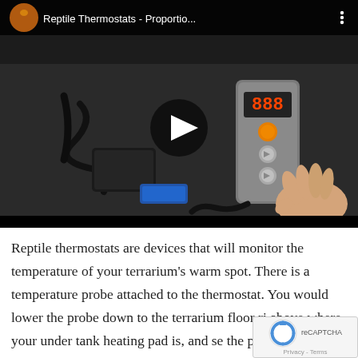[Figure (screenshot): YouTube video thumbnail showing a person holding a reptile thermostat device (a gray digital controller with LED display showing '888' and buttons) connected to cables, with black cables and a temperature probe visible on a dark table. The video title bar reads 'Reptile Thermostats - Proportio...' with a reptile avatar icon and three-dot menu. A white play button triangle is centered on the video.]
Reptile thermostats are devices that will monitor the temperature of your terrarium's warm spot. There is a temperature probe attached to the thermostat. You would lower the probe down to the terrarium floor right above where your under tank heating pad is, and secure the probe with either tape or a weighted decor. Then you